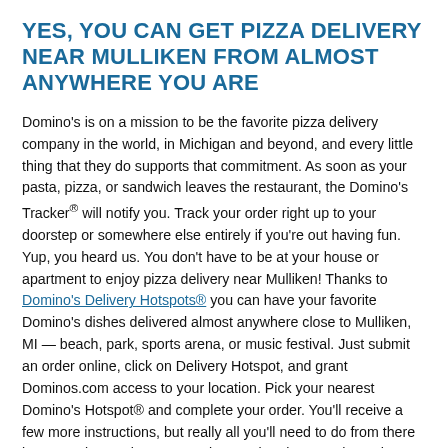YES, YOU CAN GET PIZZA DELIVERY NEAR MULLIKEN FROM ALMOST ANYWHERE YOU ARE
Domino's is on a mission to be the favorite pizza delivery company in the world, in Michigan and beyond, and every little thing that they do supports that commitment. As soon as your pasta, pizza, or sandwich leaves the restaurant, the Domino's Tracker® will notify you. Track your order right up to your doorstep or somewhere else entirely if you're out having fun. Yup, you heard us. You don't have to be at your house or apartment to enjoy pizza delivery near Mulliken! Thanks to Domino's Delivery Hotspots® you can have your favorite Domino's dishes delivered almost anywhere close to Mulliken, MI — beach, park, sports arena, or music festival. Just submit an order online, click on Delivery Hotspot, and grant Dominos.com access to your location. Pick your nearest Domino's Hotspot® and complete your order. You'll receive a few more instructions, but really all you'll need to do from there is get ready to enjoy your made-to-order pizza! Or, have the Domino's dishes you crave most delivered straight to your car with Domino's Carside Delivery™. We call it carryout, delivered. Place your carryout order as you normally would and head our way. When you arrive, a ready-to-go team